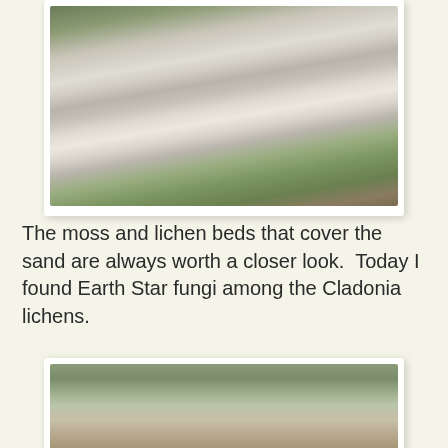[Figure (photo): Close-up photo of fluffy seed heads (clematis or similar plant) with feathery white plumes against green foliage background]
The moss and lichen beds that cover the sand are always worth a closer look.  Today I found Earth Star fungi among the Cladonia lichens.
[Figure (photo): Close-up photo of Earth Star fungus (Geastrum) on sandy ground surrounded by Cladonia lichen]